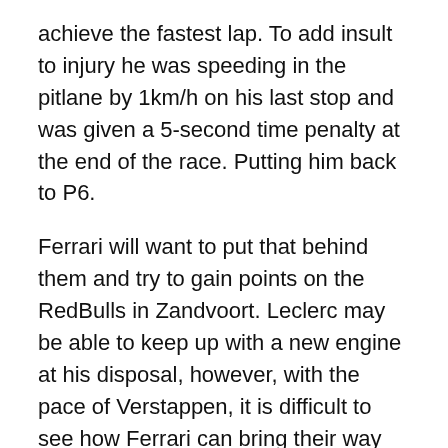achieve the fastest lap. To add insult to injury he was speeding in the pitlane by 1km/h on his last stop and was given a 5-second time penalty at the end of the race. Putting him back to P6.
Ferrari will want to put that behind them and try to gain points on the RedBulls in Zandvoort. Leclerc may be able to keep up with a new engine at his disposal, however, with the pace of Verstappen, it is difficult to see how Ferrari can bring their way back into this championship fight.
Mercedes crashing back to reality
After a successful outing in Hungary and a competitive run before the summer break, it